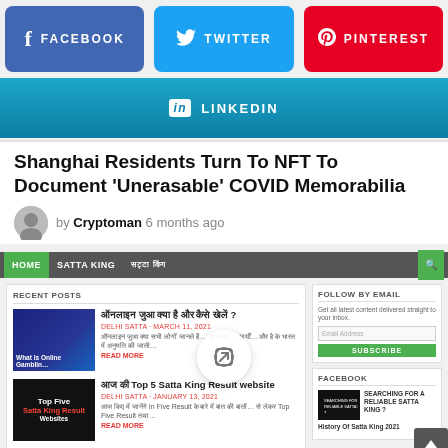[Figure (screenshot): Social media share buttons: Facebook (blue), Twitter (cyan), Pinterest (red), LinkedIn (blue gradient)]
Shanghai Residents Turn To NFT To Document 'Unerasable' COVID Memorabilia
by Cryptoman 6 months ago
[Figure (screenshot): Second website screenshot showing a blog with navigation bar (HOME, SATTA KING, menu items), Recent Posts section with Hindi language posts about online gambling and Satta King results, and a sidebar with Follow by Email and Facebook sections. A share icon overlay appears in the center.]